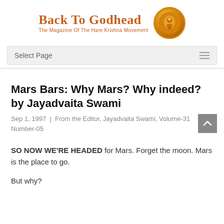Back To Godhead — The Magazine Of The Hare Krishna Movement
Mars Bars: Why Mars? Why indeed? by Jayadvaita Swami
Sep 1, 1997 | From the Editor, Jayadvaita Swami, Volume-31 Number-05
SO NOW WE'RE HEADED for Mars. Forget the moon. Mars is the place to go.
But why?